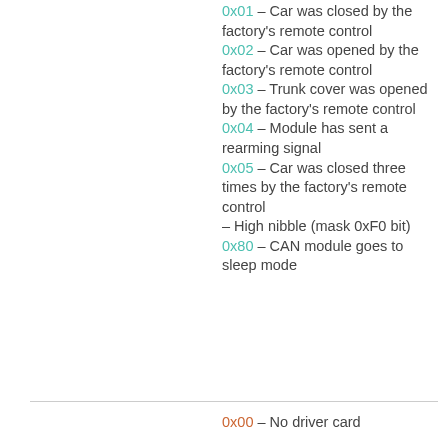0x01 – Car was closed by the factory's remote control
0x02 – Car was opened by the factory's remote control
0x03 – Trunk cover was opened by the factory's remote control
0x04 – Module has sent a rearming signal
0x05 – Car was closed three times by the factory's remote control
– High nibble (mask 0xF0 bit)
0x80 – CAN module goes to sleep mode
0x00 – No driver card